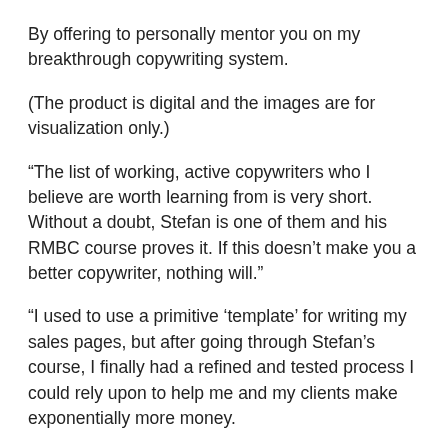By offering to personally mentor you on my breakthrough copywriting system.
(The product is digital and the images are for visualization only.)
“The list of working, active copywriters who I believe are worth learning from is very short. Without a doubt, Stefan is one of them and his RMBC course proves it. If this doesn’t make you a better copywriter, nothing will.”
“I used to use a primitive ‘template’ for writing my sales pages, but after going through Stefan’s course, I finally had a refined and tested process I could rely upon to help me and my clients make exponentially more money.